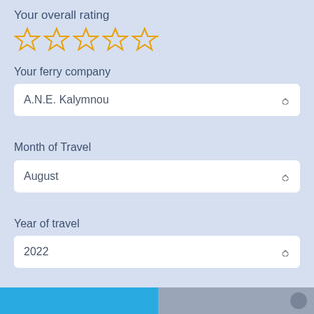Your overall rating
[Figure (illustration): Five empty star icons in a row for rating input]
Your ferry company
A.N.E. Kalymnou
Month of Travel
August
Year of travel
2022